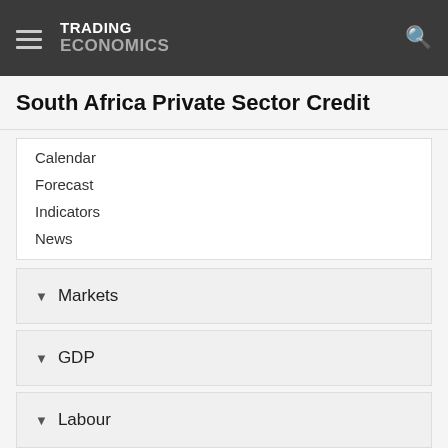TRADING ECONOMICS
South Africa Private Sector Credit
Calendar
Forecast
Indicators
News
▾ Markets
▾ GDP
▾ Labour
▾ Prices
▾ Health